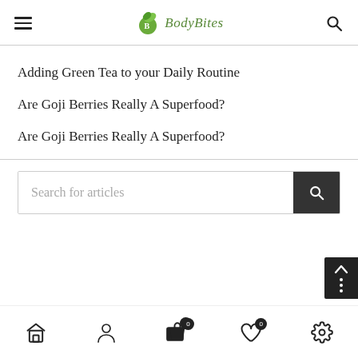BodyBites - navigation header with hamburger menu and search icon
Adding Green Tea to your Daily Routine
Are Goji Berries Really A Superfood?
Are Goji Berries Really A Superfood?
Search for articles
Bottom navigation: home, profile, cart (0), wishlist (0), settings